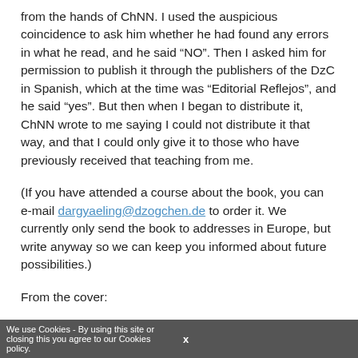from the hands of ChNN. I used the auspicious coincidence to ask him whether he had found any errors in what he read, and he said “NO”. Then I asked him for permission to publish it through the publishers of the DzC in Spanish, which at the time was “Editorial Reflejos”, and he said “yes”. But then when I began to distribute it, ChNN wrote to me saying I could not distribute it that way, and that I could only give it to those who have previously received that teaching from me.
(If you have attended a course about the book, you can e-mail dargyaeling@dzogchen.de to order it. We currently only send the book to addresses in Europe, but write anyway so we can keep you informed about future possibilities.)
From the cover:
Elias Capriles studied Dzogchen with some of the greatest lamas of the twentieth century and; after receiving specific Trekchod instructions from Khyabjes Thinley Norbu and
We use Cookies - By using this site or closing this you agree to our Cookies policy.   x